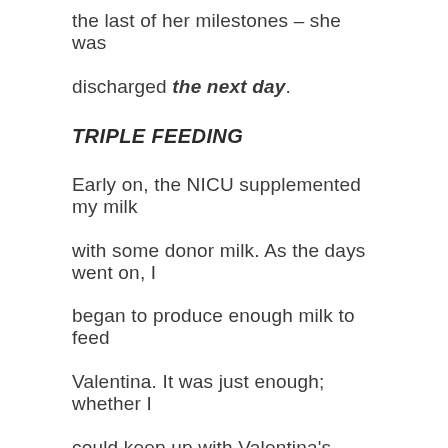the last of her milestones – she was discharged the next day.
TRIPLE FEEDING
Early on, the NICU supplemented my milk with some donor milk. As the days went on, I began to produce enough milk to feed Valentina. It was just enough; whether I could keep up with Valentina's needs was questionable.